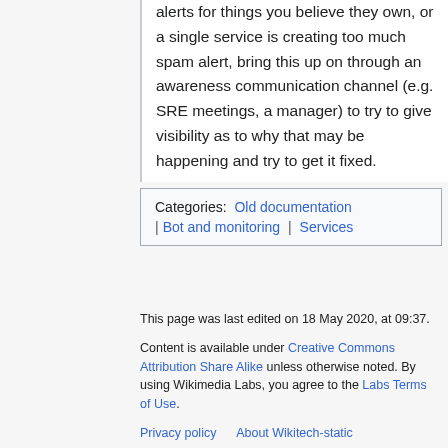alerts for things you believe they own, or a single service is creating too much spam alert, bring this up on through an awareness communication channel (e.g. SRE meetings, a manager) to try to give visibility as to why that may be happening and try to get it fixed.
Categories: Old documentation | Bot and monitoring | Services
This page was last edited on 18 May 2020, at 09:37.
Content is available under Creative Commons Attribution Share Alike unless otherwise noted. By using Wikimedia Labs, you agree to the Labs Terms of Use.
Privacy policy   About Wikitech-static
Disclaimers
[Figure (logo): Creative Commons Attribution Share Alike badge (CC BY-SA)]
[Figure (logo): Powered by MediaWiki badge]